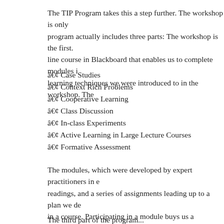The TIP Program takes this a step further. The workshop is only program actually includes three parts: The workshop is the first. line course in Blackboard that enables us to complete modules i learning techniques we were introduced to in the workshop. The
• Case Studies
• Context Rich Problems
• Cooperative Learning
• Class Discussion
• In-class Experiments
• Active Learning in Large Lecture Courses
• Formative Assessment
The modules, which were developed by expert practitioners in e readings, and a series of assignments leading up to a plan we de in a course. Participating in a module buys us a consulting relati provides feedback on our plan before we implement it.
The third part of the program...